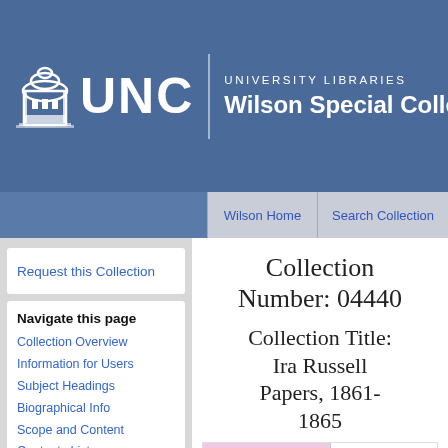UNC UNIVERSITY LIBRARIES Wilson Special Collections
Wilson Home | Search Collections
Request this Collection
Navigate this page
Collection Overview
Information for Users
Subject Headings
Biographical Info
Scope and Content
Contents List
[expand all sections ▼]
[collapse all sections ▶]
Collection Number: 04440
Collection Title: Ira Russell Papers, 1861-1865
Digital Content
Some co online. Br
This is a finding aid. It is a description of archival material held in the Wilson Library at the University of North Carolina at Chapel